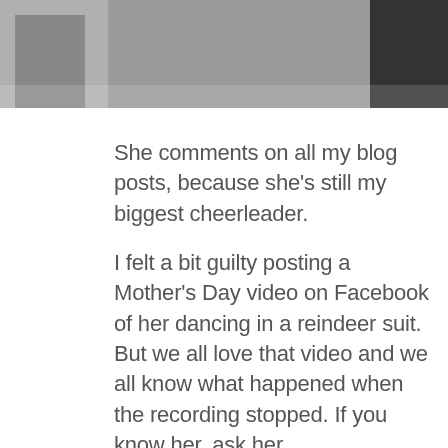[Figure (photo): Partial photo showing people, cropped at top of page]
She comments on all my blog posts, because she's still my biggest cheerleader.
I felt a bit guilty posting a Mother's Day video on Facebook of her dancing in a reindeer suit. But we all love that video and we all know what happened when the recording stopped. If you know her, ask her.
She is the heart of our family, and an important source of encouragement for me. She might think my obsession with long distance swimming is a bit crazy, but I know